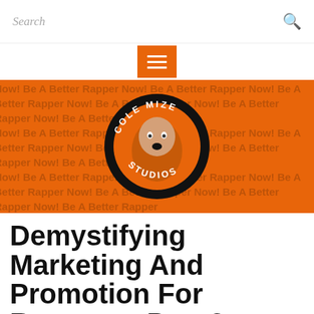Search
[Figure (logo): Cole Mize Studios logo — circular logo with a man's face and text 'COLE MIZE STUDIOS' on an orange tiled background repeating 'Be A Better Rapper Now!']
Demystifying Marketing And Promotion For Rappers - Part 2